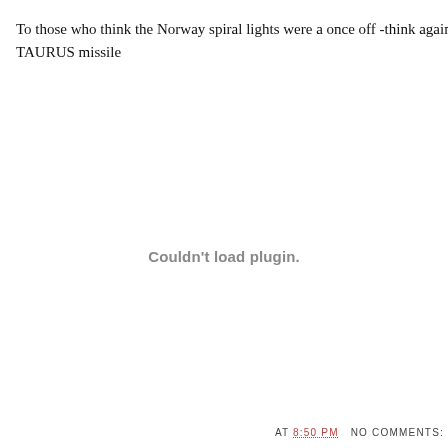To those who think the Norway spiral lights were a once off -think again - Ch TAURUS missile
Couldn't load plugin.
AT 8:50 PM   NO COMMENTS: